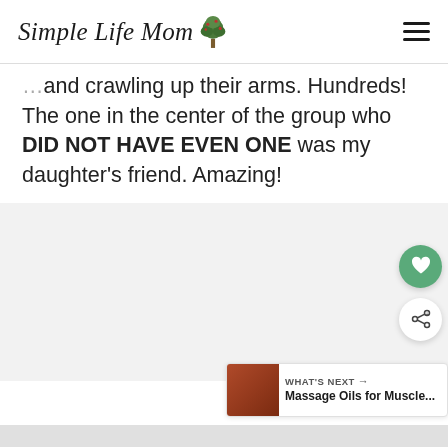Simple Life Mom
and crawling up their arms. Hundreds! The one in the center of the group who DID NOT HAVE EVEN ONE was my daughter's friend. Amazing!
[Figure (photo): Large image placeholder area (light gray), with floating heart and share buttons on the right side, and a 'What's Next' bar in the bottom-right corner showing Massage Oils for Muscle...]
WHAT'S NEXT → Massage Oils for Muscle...